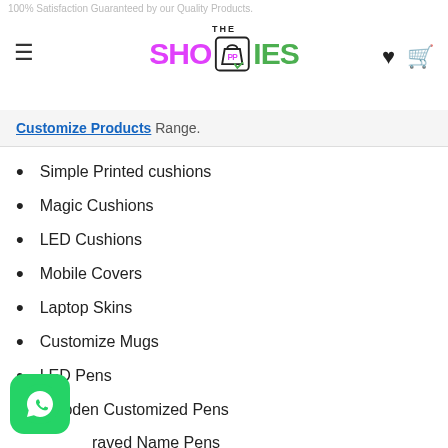100% Satisfaction Guaranteed by our Quality Products.
Customize Products Range.
Simple Printed cushions
Magic Cushions
LED Cushions
Mobile Covers
Laptop Skins
Customize Mugs
LED Pens
Wooden Customized Pens
Engraved Name Pens